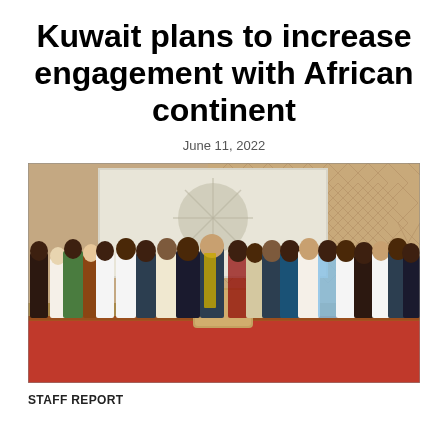Kuwait plans to increase engagement with African continent
June 11, 2022
[Figure (photo): Group photo of diplomats and officials in formal and traditional attire standing on a red-carpeted stage in front of a large projection screen displaying an emblem, in a wood-paneled hall.]
STAFF REPORT